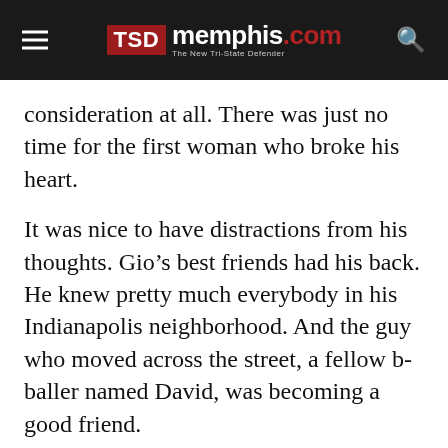TSD memphis.com The New Tri-State Defender
consideration at all. There was just no time for the first woman who broke his heart.
It was nice to have distractions from his thoughts. Gio’s best friends had his back. He knew pretty much everybody in his Indianapolis neighborhood. And the guy who moved across the street, a fellow b-baller named David, was becoming a good friend.
A very good friend.
David was bi-sexual, too.